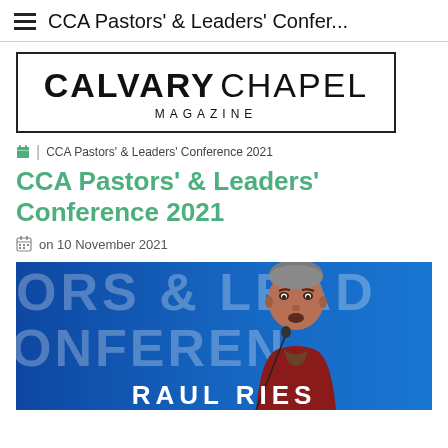CCA Pastors' & Leaders' Confer...
[Figure (logo): Calvary Chapel Magazine logo inside a rectangular border. Bold black 'CALVARY' and lighter 'CHAPEL' with 'MAGAZINE' in spaced capitals below.]
CCA Pastors' & Leaders' Conference 2021
CCA Pastors' & Leaders' Conference 2021
on 10 November 2021
[Figure (photo): Photo of a man speaking at a microphone, wearing a red/maroon jacket, against a blue conference banner background reading 'PASTORS & LEADERS CONFERENCE'. Text 'RAUL RIES' appears at the bottom of the image.]